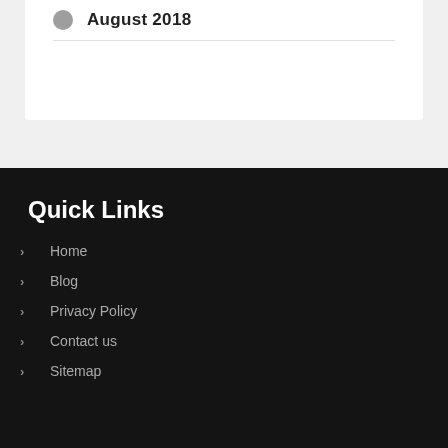August 2018
Quick Links
Home
Blog
Privacy Policy
Contact us
Sitemap